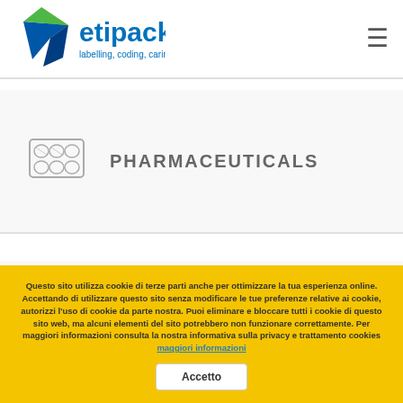[Figure (logo): Etipack logo with colored geometric shape and text 'etipack labelling, coding, caring']
PHARMACEUTICALS
COSMETICS
Questo sito utilizza cookie di terze parti anche per ottimizzare la tua esperienza online. Accettando di utilizzare questo sito senza modificare le tue preferenze relative ai cookie, autorizzi l'uso di cookie da parte nostra. Puoi eliminare e bloccare tutti i cookie di questo sito web, ma alcuni elementi del sito potrebbero non funzionare correttamente. Per maggiori informazioni consulta la nostra informativa sulla privacy e trattamento cookies maggiori informazioni Accetto